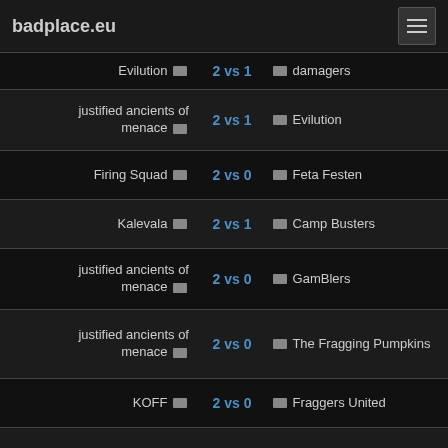badplace.eu
| Team Left | Score | Team Right |
| --- | --- | --- |
| Evilution | 2 vs 1 | damagers |
| justified ancients of menace | 2 vs 1 | Evilution |
| Firing Squad | 2 vs 0 | Feta Festen |
| Kalevala | 2 vs 1 | Camp Busters |
| justified ancients of menace | 2 vs 0 | GamBlers |
| justified ancients of menace | 2 vs 0 | The Fragging Pumpkins |
| KOFF | 2 vs 0 | Fraggers United |
| damagers | 2 vs 1 | America Must Die |
| Dybbuk | 2 vs 0 | gods of hellfire |